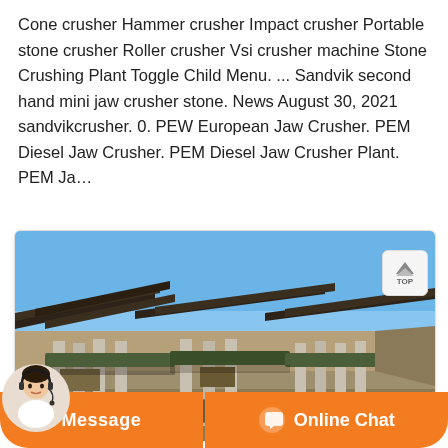Cone crusher Hammer crusher Impact crusher Portable stone crusher Roller crusher Vsi crusher machine Stone Crushing Plant Toggle Child Menu. ... Sandvik second hand mini jaw crusher stone. News August 30, 2021 sandvikcrusher. 0. PEW European Jaw Crusher. PEM Diesel Jaw Crusher. PEM Diesel Jaw Crusher Plant. PEM Ja…
[Figure (photo): Outdoor photo of a stone crushing plant facility showing multiple conveyor belt structures supported by concrete columns, under a clear blue sky, with gravel and rocky terrain in the foreground.]
Message
Online Chat